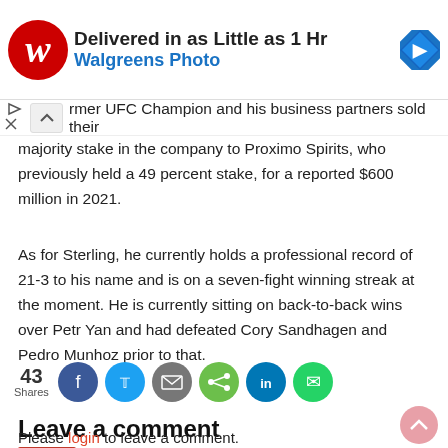[Figure (other): Walgreens Photo advertisement banner: logo, headline 'Delivered in as Little as 1 Hr', 'Walgreens Photo', navigation arrow icon]
rmer UFC Champion and his business partners sold their majority stake in the company to Proximo Spirits, who previously held a 49 percent stake, for a reported $600 million in 2021.
As for Sterling, he currently holds a professional record of 21-3 to his name and is on a seven-fight winning streak at the moment. He is currently sitting on back-to-back wins over Petr Yan and had defeated Cory Sandhagen and Pedro Munhoz prior to that.
[Figure (infographic): Social share bar: 43 Shares, Facebook, Twitter, Email, Share, LinkedIn, WhatsApp buttons]
Leave a comment
Please login to leave a comment.